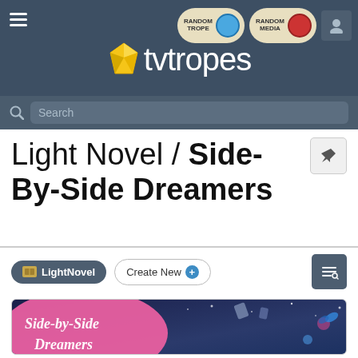TV Tropes — Random Trope, Random Media navigation header with logo
Search
Light Novel / Side-By-Side Dreamers
LightNovel   Create New
[Figure (illustration): Cover art for Side-by-Side Dreamers light novel showing colorful illustrated characters against a night sky background with a pink speech-bubble style logo reading 'Side-by-Side Dreamers']